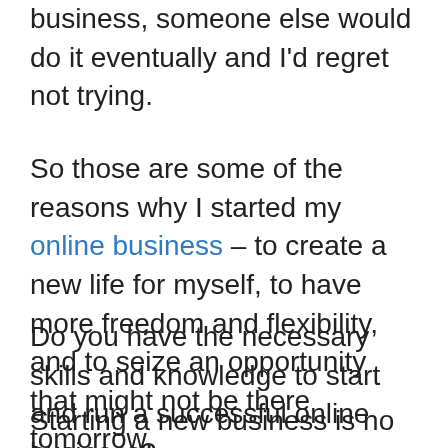business, someone else would do it eventually and I'd regret not trying.
So those are some of the reasons why I started my online business – to create a new life for myself, to have more freedom and flexibility, and to seize an opportunity that might not be there tomorrow.
Do you have the necessary skills and knowledge to start and run a successful online business?
Starting a new business is no easy task. It takes a lot of hard work, dedication, and